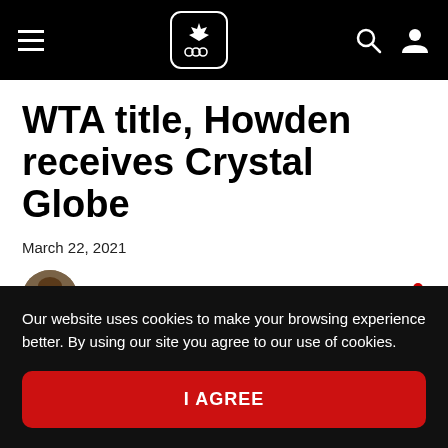Canadian Olympic Committee navigation bar
WTA title, Howden receives Crystal Globe
March 22, 2021
By Chloe Morrison
Our website uses cookies to make your browsing experience better. By using our site you agree to our use of cookies.
I AGREE